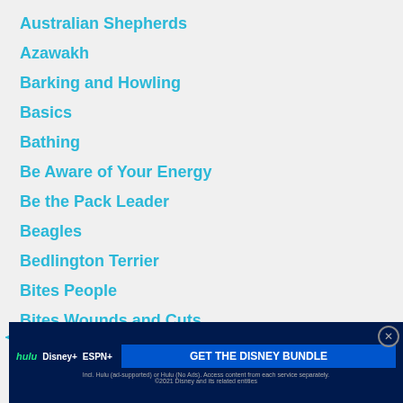Australian Shepherds
Azawakh
Barking and Howling
Basics
Bathing
Be Aware of Your Energy
Be the Pack Leader
Beagles
Bedlington Terrier
Bites People
Bites Wounds and Cuts
Bites, Wounds, and Cuts
Biting
Boarding Your Dog
Border Collies
Boxers
[Figure (screenshot): Advertisement overlay for Disney Bundle (Hulu, Disney+, ESPN+) with GET THE DISNEY BUNDLE CTA button and close button]